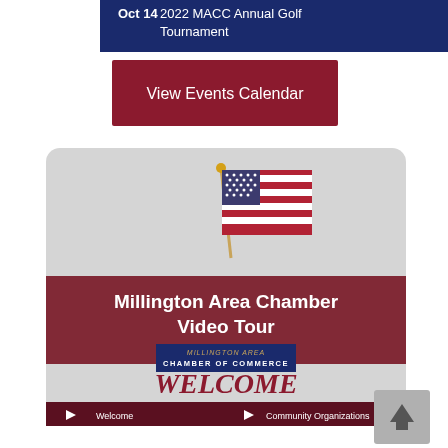Oct 14  2022 MACC Annual Golf Tournament
[Figure (screenshot): Dark navy blue bar with white text showing 'Oct 14' in bold followed by '2022 MACC Annual Golf Tournament']
[Figure (screenshot): Dark red/maroon button with white text 'View Events Calendar']
[Figure (screenshot): Millington Area Chamber Video Tour thumbnail with American flag, chamber of commerce logo, WELCOME text in red italic, and video play buttons for Welcome and Community Organizations at the bottom]
[Figure (screenshot): Gray scroll-to-top button with upward arrow in bottom right corner]